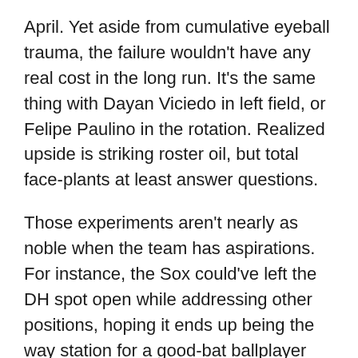April. Yet aside from cumulative eyeball trauma, the failure wouldn't have any real cost in the long run. It's the same thing with Dayan Viciedo in left field, or Felipe Paulino in the rotation. Realized upside is striking roster oil, but total face-plants at least answer questions.
Those experiments aren't nearly as noble when the team has aspirations. For instance, the Sox could've left the DH spot open while addressing other positions, hoping it ends up being the way station for a good-bat ballplayer who was squeezed out of the best defensive alignment.
Alternatively, maybe that offseason unfolds in a way that leaves Hahn two moves short, leaving us to wonder if Viciedo or Micah Johnson would be the best